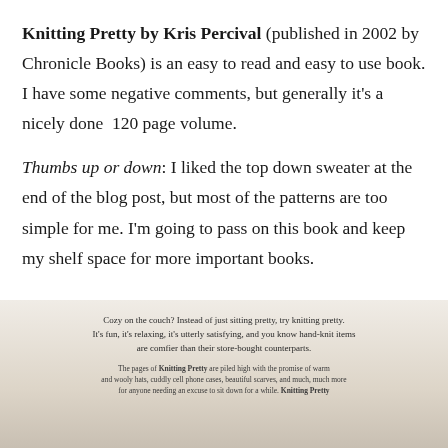Knitting Pretty by Kris Percival (published in 2002 by Chronicle Books) is an easy to read and easy to use book. I have some negative comments, but generally it's a nicely done  120 page volume.
Thumbs up or down: I liked the top down sweater at the end of the blog post, but most of the patterns are too simple for me. I'm going to pass on this book and keep my shelf space for more important books.
[Figure (photo): Photograph of a book page. The visible text reads: 'Cozy on the couch? Instead of just sitting pretty, try knitting pretty. It's fun, it's relaxing, it's utterly satisfying, and you know hand-knit items are comfier than their store-bought counterparts.' Below that in smaller text: 'The pages of Knitting Pretty are piled high with the promise of warm and wooly hats, cuddly cell phone cases, beautiful scarves, and much, much more for anyone needing an excuse to sit down for a while. Knitting Pretty'. Yarn visible on left (orange/peach) and right (teal/aqua) sides.]